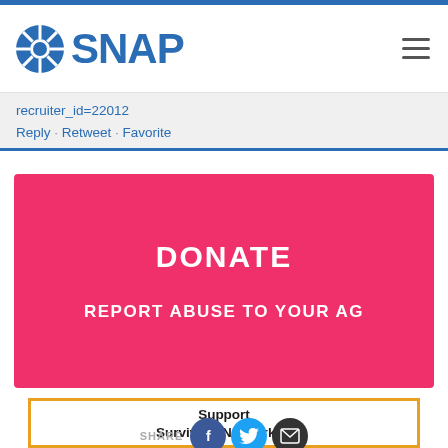[Figure (logo): SNAP logo with blue sunburst wheel icon and bold blue SNAP text, with hamburger menu icon on right]
recruiter_id=22012
Reply · Retweet · Favorite
DONATE
REPORT ABUSE TO YOUR AG
Support Survivors Network of those Abused By Priests.
When you shop at smile.amazon.com, Amazon donates.
SHARE